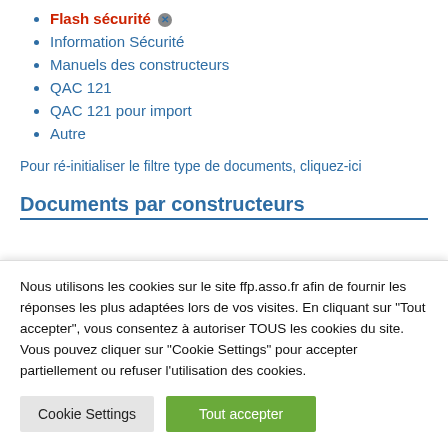Flash sécurité ✕
Information Sécurité
Manuels des constructeurs
QAC 121
QAC 121 pour import
Autre
Pour ré-initialiser le filtre type de documents, cliquez-ici
Documents par constructeurs
Nous utilisons les cookies sur le site ffp.asso.fr afin de fournir les réponses les plus adaptées lors de vos visites. En cliquant sur "Tout accepter", vous consentez à autoriser TOUS les cookies du site. Vous pouvez cliquer sur "Cookie Settings" pour accepter partiellement ou refuser l'utilisation des cookies.